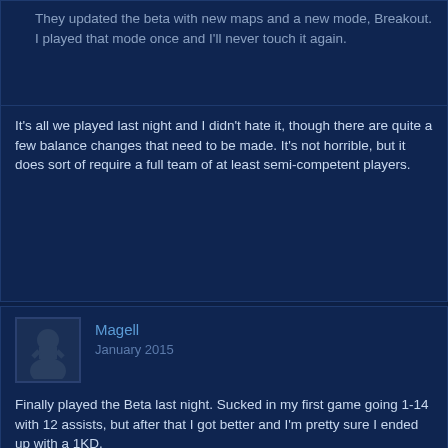They updated the beta with new maps and a new mode, Breakout. I played that mode once and I'll never touch it again.
It's all we played last night and I didn't hate it, though there are quite a few balance changes that need to be made. It's not horrible, but it does sort of require a full team of at least semi-competent players.
Magell
January 2015
Finally played the Beta last night. Sucked in my first game going 1-14 with 12 assists, but after that I got better and I'm pretty sure I ended up with a 1KD.
Trying to figure out what the fuck the KDA that the game rates is though since that has nothing to do with kill death ration as far as I can tell.